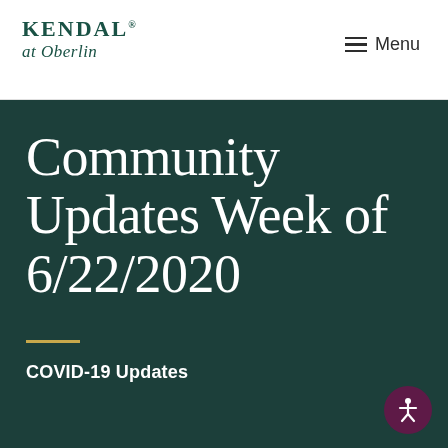[Figure (logo): Kendal at Oberlin logo — serif KENDAL with registered mark, italic 'at Oberlin' below]
Menu
Community Updates Week of 6/22/2020
COVID-19 Updates